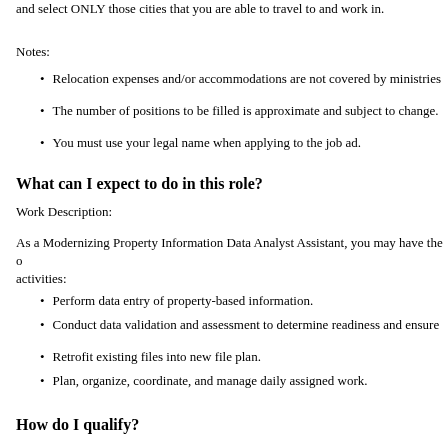and select ONLY those cities that you are able to travel to and work in.
Notes:
Relocation expenses and/or accommodations are not covered by ministries
The number of positions to be filled is approximate and subject to change.
You must use your legal name when applying to the job ad.
What can I expect to do in this role?
Work Description:
As a Modernizing Property Information Data Analyst Assistant, you may have the opportunity to perform the following activities:
Perform data entry of property-based information.
Conduct data validation and assessment to determine readiness and ensure
Retrofit existing files into new file plan.
Plan, organize, coordinate, and manage daily assigned work.
How do I qualify?